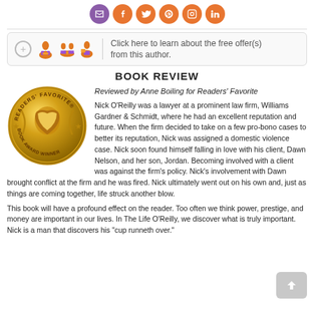[Figure (illustration): Row of social media icon buttons: email (purple), Facebook, Twitter, Pinterest, Instagram, LinkedIn (all orange)]
[Figure (infographic): Offer box with plus button, reader icons, and text: Click here to learn about the free offer(s) from this author.]
BOOK REVIEW
Reviewed by Anne Boiling for Readers' Favorite
[Figure (illustration): Readers' Favorite Book Award Winner gold medal badge]
Nick O'Reilly was a lawyer at a prominent law firm, Williams Gardner & Schmidt, where he had an excellent reputation and future. When the firm decided to take on a few pro-bono cases to better its reputation, Nick was assigned a domestic violence case. Nick soon found himself falling in love with his client, Dawn Nelson, and her son, Jordan. Becoming involved with a client was against the firm's policy. Nick's involvement with Dawn brought conflict at the firm and he was fired. Nick ultimately went out on his own and, just as things are coming together, life struck another blow.
This book will have a profound effect on the reader. Too often we think power, prestige, and money are important in our lives. In The Life O'Reilly, we discover what is truly important. Nick is a man that discovers his "cup runneth over."